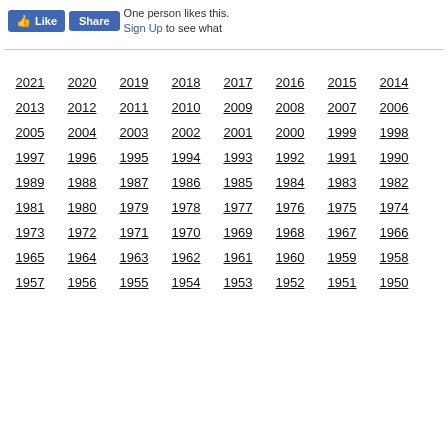[Figure (screenshot): Facebook Like and Share buttons with text 'One person likes this. Sign Up to see what']
2021 2020 2019 2018 2017 2016 2015 2014 2013 2012 2011 2010 2009 2008 2007 2006 2005 2004 2003 2002 2001 2000 1999 1998 1997 1996 1995 1994 1993 1992 1991 1990 1989 1988 1987 1986 1985 1984 1983 1982 1981 1980 1979 1978 1977 1976 1975 1974 1973 1972 1971 1970 1969 1968 1967 1966 1965 1964 1963 1962 1961 1960 1959 1958 1957 1956 1955 1954 1953 1952 1951 1950